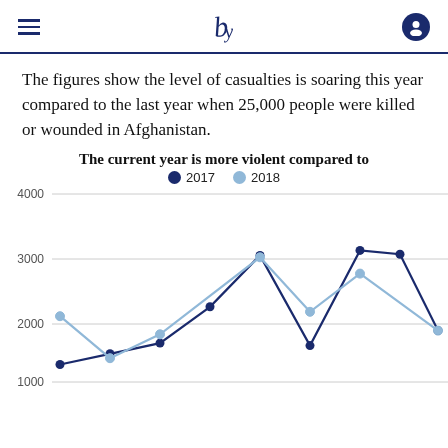The Guardian (logo)
The figures show the level of casualties is soaring this year compared to the last year when 25,000 people were killed or wounded in Afghanistan.
[Figure (line-chart): The current year is more violent compared to]